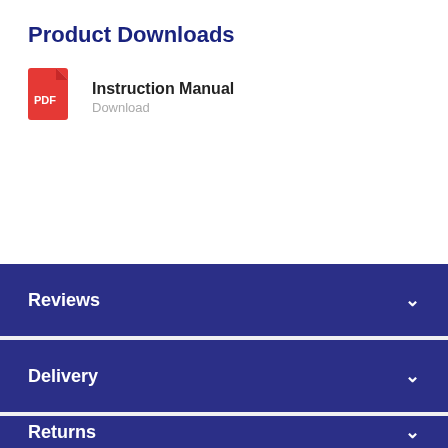Product Downloads
Instruction Manual
Download
Reviews
Delivery
Returns